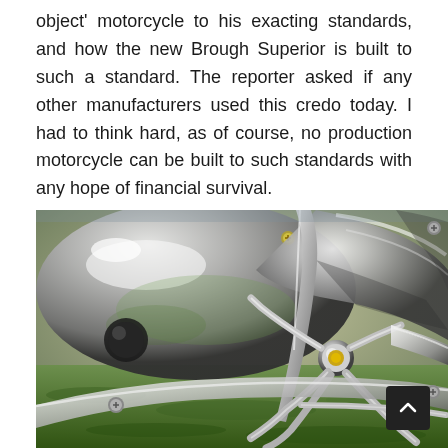object' motorcycle to his exacting standards, and how the new Brough Superior is built to such a standard. The reporter asked if any other manufacturers used this credo today. I had to think hard, as of course, no production motorcycle can be built to such standards with any hope of financial survival.
[Figure (photo): Close-up photograph of a highly polished chrome motorcycle frame, engine components, and linkage resting on green grass. The chrome parts are mirror-finished, reflecting the surroundings.]